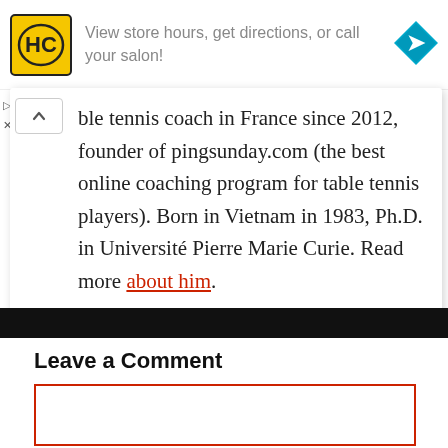[Figure (advertisement): Hairclub (HC) store ad banner with logo and directions icon. Text: 'View store hours, get directions, or call your salon!']
ble tennis coach in France since 2012, founder of pingsunday.com (the best online coaching program for table tennis players). Born in Vietnam in 1983, Ph.D. in Université Pierre Marie Curie. Read more about him.
Leave a Comment